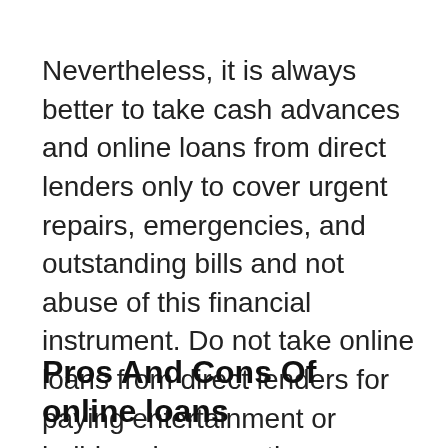Nevertheless, it is always better to take cash advances and online loans from direct lenders only to cover urgent repairs, emergencies, and outstanding bills and not abuse of this financial instrument. Do not take online loans from direct lenders for paying entertainment or holidays because they come with high interests.
Pros And Cons Of online loans